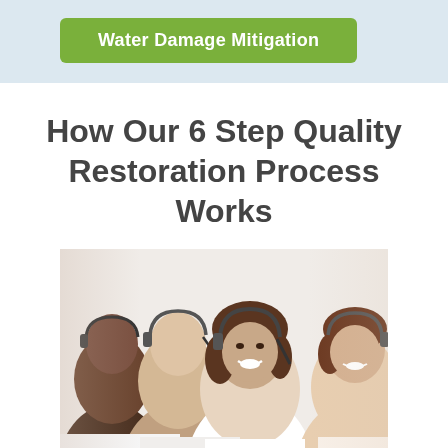Water Damage Mitigation
How Our 6 Step Quality Restoration Process Works
[Figure (photo): Group of four customer service representatives wearing headsets, smiling, photographed in a row with the woman in the center in focus]